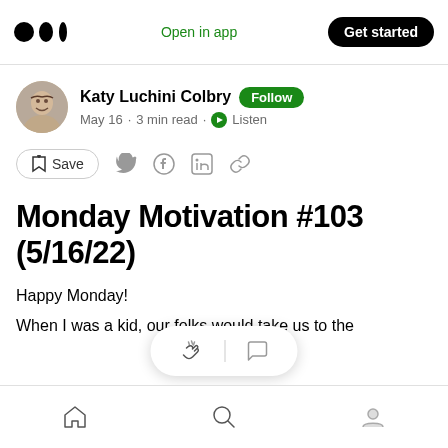Medium logo | Open in app | Get started
Katy Luchini Colbry · Follow · May 16 · 3 min read · Listen
Save (share actions)
Monday Motivation #103 (5/16/22)
Happy Monday!
When I was a kid, our folks would take us to the